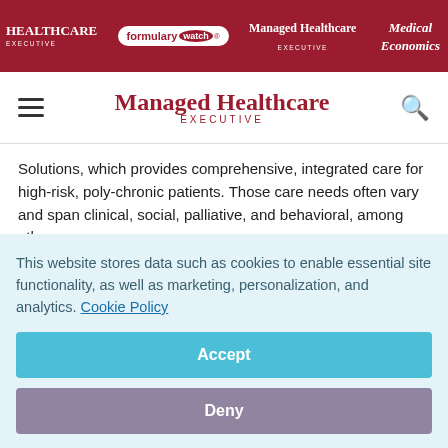HEALTHCARE EXECUTIVE | formulary watch | Managed Healthcare EXECUTIVE | Medical Economics
[Figure (logo): Managed Healthcare Executive navigation bar with hamburger menu and search icon]
Solutions, which provides comprehensive, integrated care for high-risk, poly-chronic patients. Those care needs often vary and span clinical, social, palliative, and behavioral, among others.
Comprehensive, coordinated care might include transportation assistance, social services, support navigating
This website stores data such as cookies to enable essential site functionality, as well as marketing, personalization, and analytics. Cookie Policy
Accept
Deny